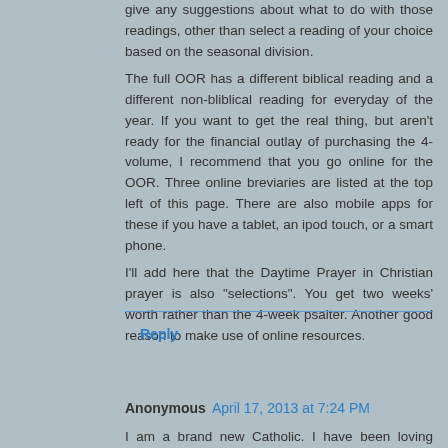give any suggestions about what to do with those readings, other than select a reading of your choice based on the seasonal division. The full OOR has a different biblical reading and a different non-bliblical reading for everyday of the year. If you want to get the real thing, but aren't ready for the financial outlay of purchasing the 4-volume, I recommend that you go online for the OOR. Three online breviaries are listed at the top left of this page. There are also mobile apps for these if you have a tablet, an ipod touch, or a smart phone. I'll add here that the Daytime Prayer in Christian prayer is also "selections". You get two weeks' worth rather than the 4-week psalter. Another good reason to make use of online resources.
Reply
Anonymous April 17, 2013 at 7:24 PM
I am a brand new Catholic. I have been loving learning